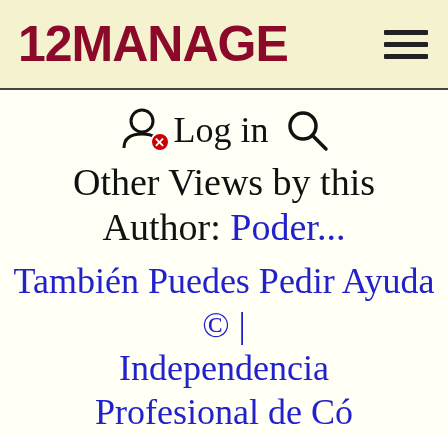12MANAGE
Log in
Other Views by this Author: Poder...
También Puedes Pedir Ayuda © | Independencia Profesional de Có...